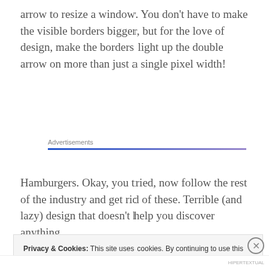arrow to resize a window. You don't have to make the visible borders bigger, but for the love of design, make the borders light up the double arrow on more than just a single pixel width!
Advertisements
Hamburgers. Okay, you tried, now follow the rest of the industry and get rid of these. Terrible (and lazy) design that doesn't help you discover anything.
Privacy & Cookies: This site uses cookies. By continuing to use this website, you agree to their use.
To find out more, including how to control cookies, see here: Cookie Policy
Close and accept